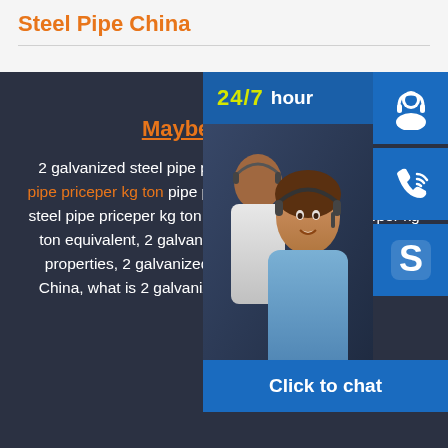Steel Pipe China
Maybe You Like
2 galvanized steel pipe priceper kg to galvanized steel pipe priceper kg ton pipe priceper kg ton chemical compo steel pipe priceper kg ton yield stre steel pipe priceper kg ton equivalent, 2 galvanized steel pipe priceper kg ton properties, 2 galvanized steel pipe priceper kg ton in China, what is 2 galvanized steel pipe priceper kg ton,
[Figure (photo): Customer service representatives smiling, with 24/7 hour support banner and blue icon buttons for headset, phone, and Skype/chat, plus Click to chat bar at bottom]